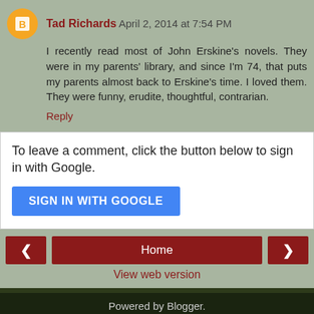Tad Richards April 2, 2014 at 7:54 PM
I recently read most of John Erskine's novels. They were in my parents' library, and since I'm 74, that puts my parents almost back to Erskine's time. I loved them. They were funny, erudite, thoughtful, contrarian.
Reply
To leave a comment, click the button below to sign in with Google.
SIGN IN WITH GOOGLE
Home
View web version
Powered by Blogger.